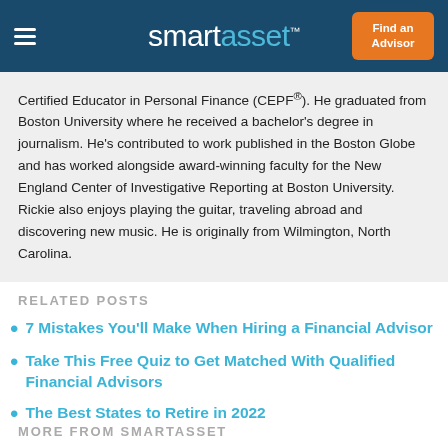smartasset™ | Find an Advisor
Certified Educator in Personal Finance (CEPF®). He graduated from Boston University where he received a bachelor's degree in journalism. He's contributed to work published in the Boston Globe and has worked alongside award-winning faculty for the New England Center of Investigative Reporting at Boston University. Rickie also enjoys playing the guitar, traveling abroad and discovering new music. He is originally from Wilmington, North Carolina.
RELATED POSTS
7 Mistakes You'll Make When Hiring a Financial Advisor
Take This Free Quiz to Get Matched With Qualified Financial Advisors
The Best States to Retire in 2022
MORE FROM SMARTASSET